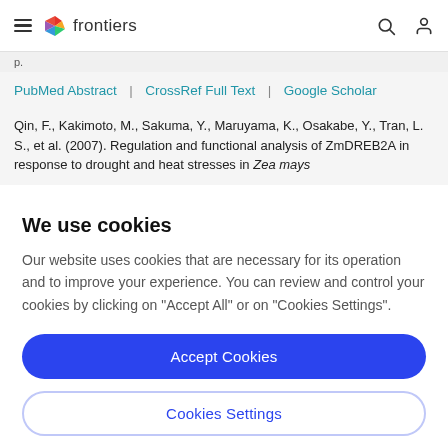frontiers navigation bar with hamburger menu, logo, search and user icons
p.
PubMed Abstract | CrossRef Full Text | Google Scholar
Qin, F., Kakimoto, M., Sakuma, Y., Maruyama, K., Osakabe, Y., Tran, L. S., et al. (2007). Regulation and functional analysis of ZmDREB2A in response to drought and heat stresses in Zea mays
We use cookies
Our website uses cookies that are necessary for its operation and to improve your experience. You can review and control your cookies by clicking on "Accept All" or on "Cookies Settings".
Accept Cookies
Cookies Settings